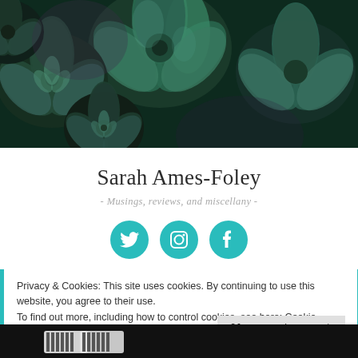[Figure (photo): Close-up photograph of green and teal succulent plants arranged together, filling the top portion of the page as a hero image.]
Sarah Ames-Foley
- Musings, reviews, and miscellany -
[Figure (illustration): Three teal circular social media icons in a row: Twitter (bird icon), Instagram (camera icon), Facebook (f icon).]
Privacy & Cookies: This site uses cookies. By continuing to use this website, you agree to their use. To find out more, including how to control cookies, see here: Cookie Policy
Close and accept
[Figure (photo): Partial view of a dark background with white lettering visible at the bottom of the page.]